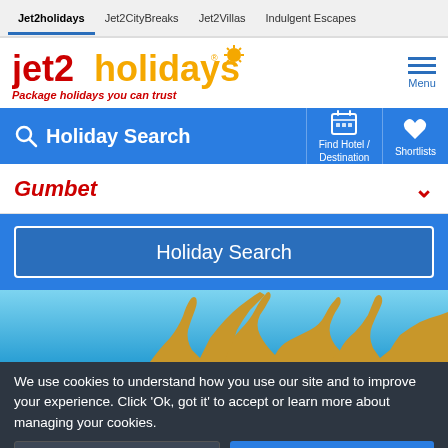Jet2holidays | Jet2CityBreaks | Jet2Villas | Indulgent Escapes
[Figure (logo): Jet2holidays logo with red and gold text and sun icon, tagline: Package holidays you can trust]
Holiday Search
Find Hotel / Destination
Shortlists
Gumbet
Holiday Search
[Figure (photo): Destination photo showing ornate golden architectural detail against a blue sky]
We use cookies to understand how you use our site and to improve your experience. Click 'Ok, got it' to accept or learn more about managing your cookies.
Learn more
Ok, got it